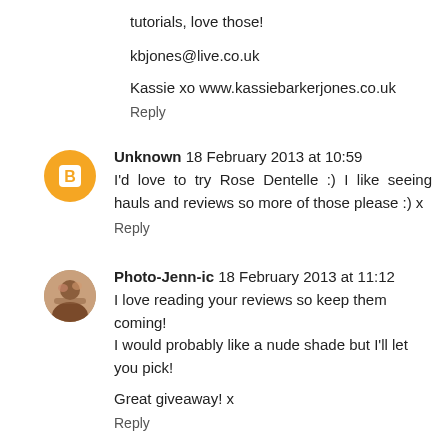tutorials, love those!
kbjones@live.co.uk
Kassie xo www.kassiebarkerjones.co.uk
Reply
Unknown 18 February 2013 at 10:59
I'd love to try Rose Dentelle :) I like seeing hauls and reviews so more of those please :) x
Reply
Photo-Jenn-ic 18 February 2013 at 11:12
I love reading your reviews so keep them coming!
I would probably like a nude shade but I'll let you pick!

Great giveaway! x
Reply